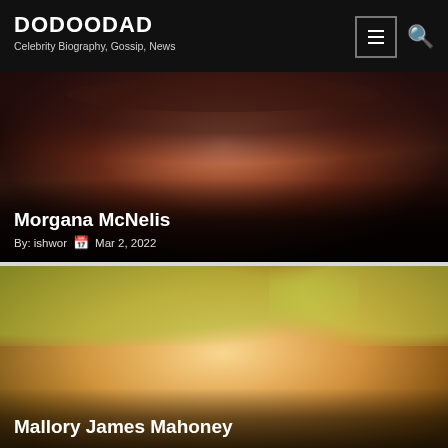DODOODAD
Celebrity Biography, Gossip, News
[Figure (photo): Close-up dark portrait photo of Morgana McNelis with reddish-brown hair against a dark background]
Morgana McNelis
By: ishwor  Mar 2, 2022
[Figure (photo): Close-up portrait photo of Mallory James Mahoney, a young girl with curly blonde hair, smiling, with a blurred yellow-green background]
Mallory James Mahoney